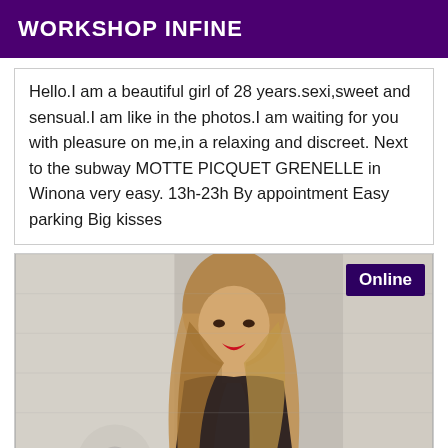WORKSHOP INFINE
Hello.I am a beautiful girl of 28 years.sexi,sweet and sensual.I am like in the photos.I am waiting for you with pleasure on me,in a relaxing and discreet. Next to the subway MOTTE PICQUET GRENELLE in Winona very easy. 13h-23h By appointment Easy parking Big kisses
[Figure (photo): Photo of a young woman with long blonde/brown hair wearing a black lace outfit, standing in front of a brick wall with a fan visible. An 'Online' badge appears in the top-right corner of the photo.]